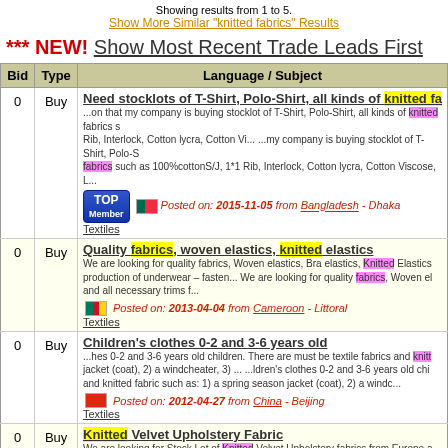Showing results from 1 to 5.
Show More Similar "knitted fabrics" Results
*** NEW! Show Most Recent Trade Leads First
| Bid | Type | Language / Subject |
| --- | --- | --- |
| 0 | Buy | Need stocklots of T-Shirt, Polo-Shirt, all kinds of knitted fa... |
| 0 | Buy | Quality fabrics, woven elastics, knitted elastics |
| 0 | Buy | Children's clothes 0-2 and 3-6 years old |
| 0 | Buy | Knitted Velvet Upholstery Fabric |